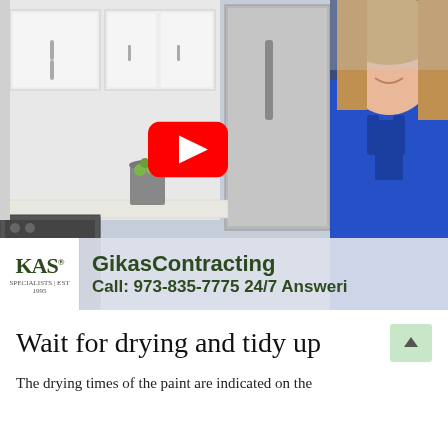[Figure (screenshot): YouTube video thumbnail showing a woman in a blue dress standing in a modern kitchen with white cabinets and stainless steel refrigerator. A YouTube play button (red rounded rectangle with white triangle) is overlaid in the center. At the bottom is a banner with the GikasContracting logo and text: 'GikasContracting' and 'Call: 973-835-7775 24/7 Answeri']
Wait for drying and tidy up
The drying times of the paint are indicated on the